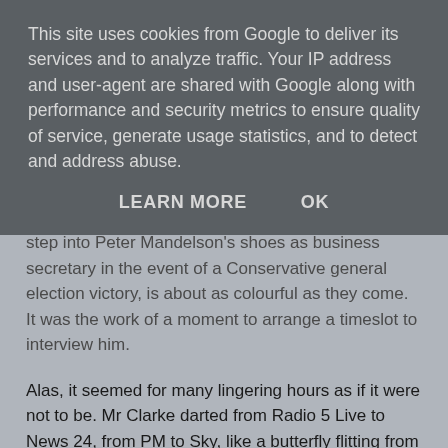This site uses cookies from Google to deliver its services and to analyze traffic. Your IP address and user-agent are shared with Google along with performance and security metrics to ensure quality of service, generate usage statistics, and to detect and address abuse.
LEARN MORE    OK
step into Peter Mandelson's shoes as business secretary in the event of a Conservative general election victory, is about as colourful as they come. It was the work of a moment to arrange a timeslot to interview him.
Alas, it seemed for many lingering hours as if it were not to be. Mr Clarke darted from Radio 5 Live to News 24, from PM to Sky, like a butterfly flitting from flower to flower. Your correspondent hopped from foot to foot as he did so, growing ever more impatient as Ken strode through the media colossi standing in his way. After what felt like decades, the opportunity arose. One question, right in front of the main lectern of the auditorium. The opportunity of a lifetime. Well, of an afternoon.